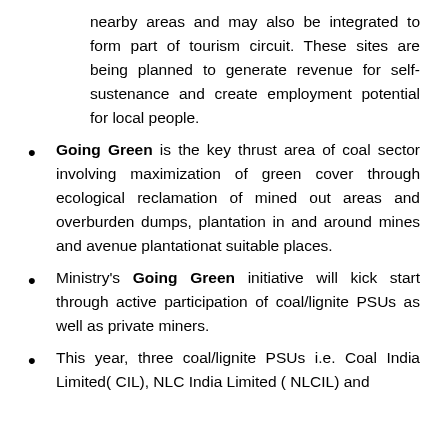nearby areas and may also be integrated to form part of tourism circuit. These sites are being planned to generate revenue for self-sustenance and create employment potential for local people.
Going Green is the key thrust area of coal sector involving maximization of green cover through ecological reclamation of mined out areas and overburden dumps, plantation in and around mines and avenue plantationat suitable places.
Ministry's Going Green initiative will kick start through active participation of coal/lignite PSUs as well as private miners.
This year, three coal/lignite PSUs i.e. Coal India Limited( CIL), NLC India Limited ( NLCIL) and